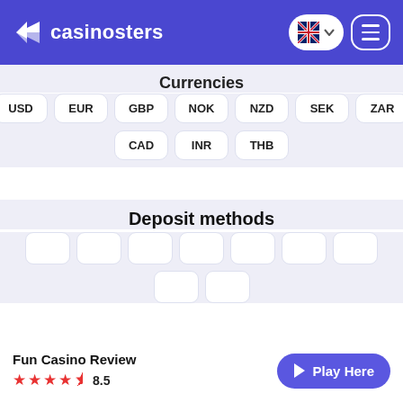casinosters
Currencies
USD EUR GBP NOK NZD SEK ZAR CAD INR THB
Deposit methods
[Figure (other): Placeholder badges for deposit method icons (empty white rounded rectangles in two rows)]
Fun Casino Review
8.5
Overview
With a name like Fun Casino, you'd better make sure...